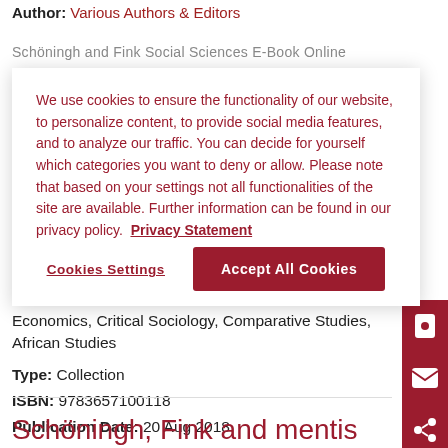Author: Various Authors & Editors
Schöningh and Fink Social Sciences E-Book Online
We use cookies to ensure the functionality of our website, to personalize content, to provide social media features, and to analyze our traffic. You can decide for yourself which categories you want to deny or allow. Please note that based on your settings not all functionalities of the site are available. Further information can be found in our privacy policy.  Privacy Statement
Cookies Settings
Accept All Cookies
Economics, Critical Sociology, Comparative Studies, African Studies
Type:  Collection
ISBN:  9783657100118
Publication Date:  20 Aug 2018
Schöningh, Fink and mentis